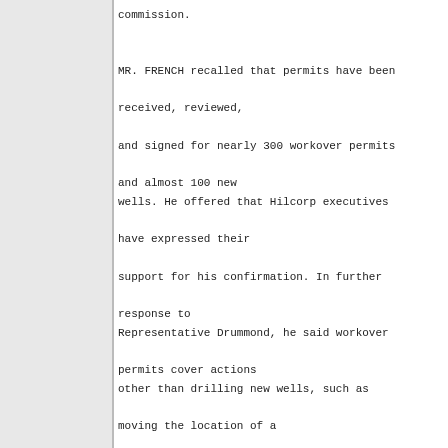commission.

MR. FRENCH recalled that permits have been received, reviewed, and signed for nearly 300 workover permits and almost 100 new wells. He offered that Hilcorp executives have expressed their support for his confirmation. In further response to Representative Drummond, he said workover permits cover actions other than drilling new wells, such as moving the location of a rig.

REPRESENTATIVE RAUSCHER queried how many permits have been